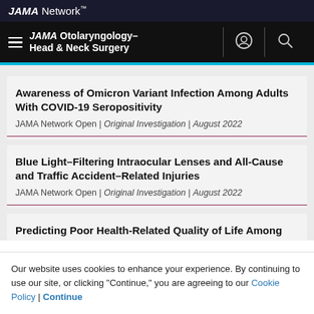JAMA Network
JAMA Otolaryngology–Head & Neck Surgery
Awareness of Omicron Variant Infection Among Adults With COVID-19 Seropositivity
JAMA Network Open | Original Investigation | August 2022
Blue Light-Filtering Intraocular Lenses and All-Cause and Traffic Accident-Related Injuries
JAMA Network Open | Original Investigation | August 2022
Predicting Poor Health-Related Quality of Life Among
Our website uses cookies to enhance your experience. By continuing to use our site, or clicking "Continue," you are agreeing to our Cookie Policy | Continue